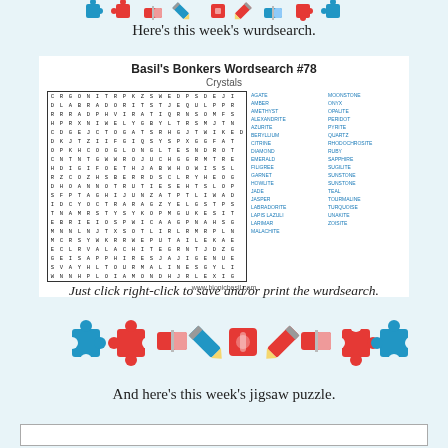[Figure (illustration): Top decorative icons: puzzle pieces, eraser, pencil, pencil sharpener in blue and red]
Here's this week's wurdsearch.
[Figure (other): Basil's Bonkers Wordsearch #78 - Crystals word search grid with word list]
Just click right-click to save and/or print the wurdsearch.
[Figure (illustration): Middle decorative icons: puzzle pieces, eraser, pencil, pencil sharpener in blue and red]
And here's this week's jigsaw puzzle.